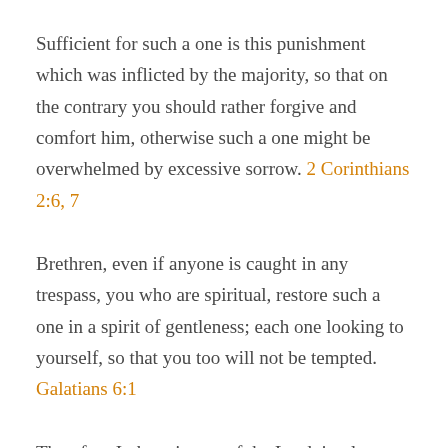Sufficient for such a one is this punishment which was inflicted by the majority, so that on the contrary you should rather forgive and comfort him, otherwise such a one might be overwhelmed by excessive sorrow. 2 Corinthians 2:6, 7
Brethren, even if anyone is caught in any trespass, you who are spiritual, restore such a one in a spirit of gentleness; each one looking to yourself, so that you too will not be tempted. Galatians 6:1
Therefore I, the prisoner of the Lord, implore you to walk in a manner worthy of the calling with which